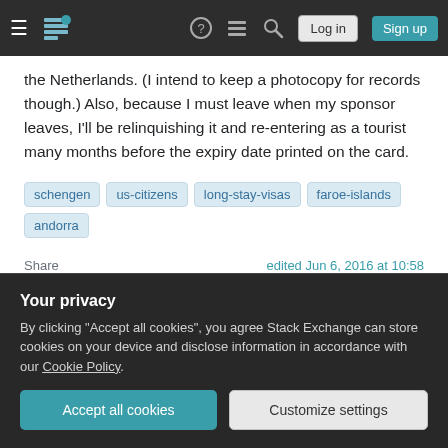Navigation bar with logo, icons, Log in, Sign up buttons
the Netherlands. (I intend to keep a photocopy for records though.) Also, because I must leave when my sponsor leaves, I'll be relinquishing it and re-entering as a tourist many months before the expiry date printed on the card.
schengen
us-citizens
long-stay-visas
faroe-islands
andorra
Share    edited Jun 6, 2016 at 10:58
Your privacy
By clicking "Accept all cookies", you agree Stack Exchange can store cookies on your device and disclose information in accordance with our Cookie Policy.
Accept all cookies    Customize settings